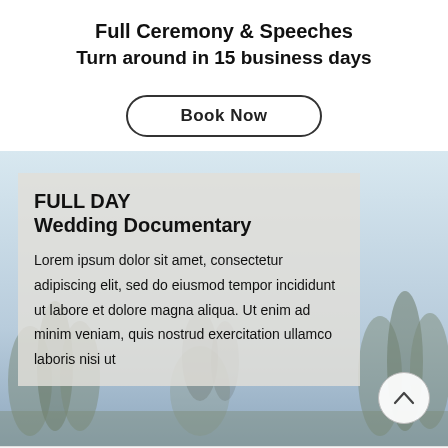Full Ceremony & Speeches
Turn around in 15 business days
Book Now
[Figure (photo): Wedding documentary promotional card overlaid on a misty outdoor background with trees and couple silhouette. Card reads: FULL DAY Wedding Documentary followed by Lorem ipsum placeholder text.]
FULL DAY
Wedding Documentary
Lorem ipsum dolor sit amet, consectetur adipiscing elit, sed do eiusmod tempor incididunt ut labore et dolore magna aliqua. Ut enim ad minim veniam, quis nostrud exercitation ullamco laboris nisi ut
Chat